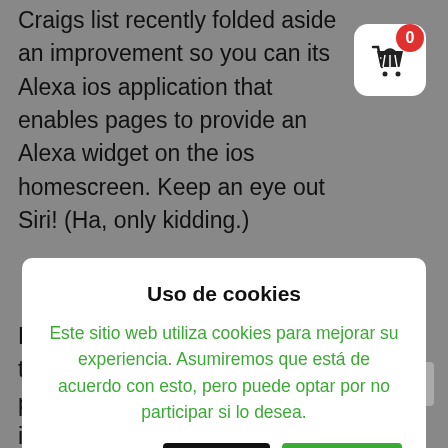Craigs list recently folded aside an improvement so you can its Alexa ios application that enables pages to provide an Alexa widget on the ios homescreen. Keep an eye out Siri! (Ha, only kidding.)
[Figure (other): Shopping basket icon button with red badge showing '0']
Uso de cookies
Este sitio web utiliza cookies para mejorar su experiencia. Asumiremos que está de acuerdo con esto, pero puede optar por no participar si lo desea.
Ajustes de cookies  Aceptar  Rechazar
Leer más
Bing try working on a good"Change to Android" app for apple's ios pages that content more than investigation and applications of a new iphone 4 to carry these to another type of Android os equipment. Apple currently offers a comparable